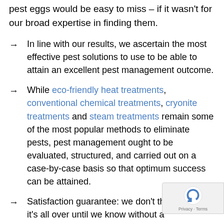pest eggs would be easy to miss – if it wasn't for our broad expertise in finding them.
In line with our results, we ascertain the most effective pest solutions to use to be able to attain an excellent pest management outcome.
While eco-friendly heat treatments, conventional chemical treatments, cryonite treatments and steam treatments remain some of the most popular methods to eliminate pests, pest management ought to be evaluated, structured, and carried out on a case-by-case basis so that optimum success can be attained.
Satisfaction guarantee: we don't think it's all over until we know without a doubt that pests in all levels of development will be eradicated and won't reappear.